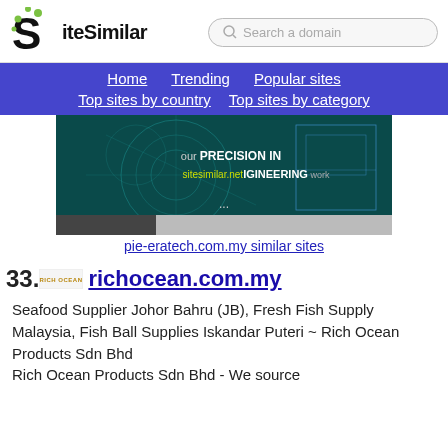SiteSimilar — Search a domain
[Figure (screenshot): Navigation bar with links: Home, Trending, Popular sites, Top sites by country, Top sites by category on blue/purple background]
[Figure (screenshot): Website screenshot of pie-eratech.com.my showing engineering blueprints with text 'our PRECISION IN sitesimilar.net IGINEERING work']
pie-eratech.com.my similar sites
33. richocean.com.my
Seafood Supplier Johor Bahru (JB), Fresh Fish Supply Malaysia, Fish Ball Supplies Iskandar Puteri ~ Rich Ocean Products Sdn Bhd Rich Ocean Products Sdn Bhd - We source